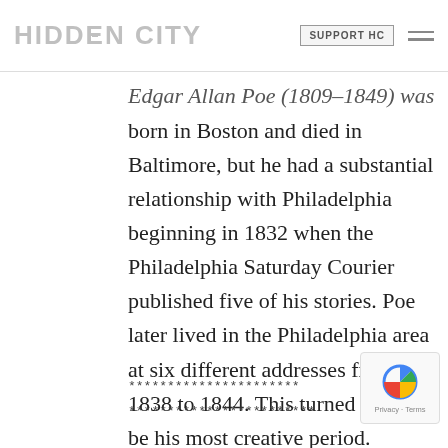HIDDEN CITY | SUPPORT HC
Edgar Allan Poe (1809–1849) was born in Boston and died in Baltimore, but he had a substantial relationship with Philadelphia beginning in 1832 when the Philadelphia Saturday Courier published five of his stories. Poe later lived in the Philadelphia area at six different addresses from 1838 to 1844. This turned out to be his most creative period.
**********************
************************